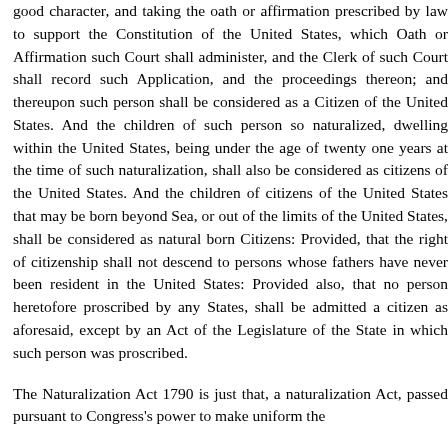good character, and taking the oath or affirmation prescribed by law to support the Constitution of the United States, which Oath or Affirmation such Court shall administer, and the Clerk of such Court shall record such Application, and the proceedings thereon; and thereupon such person shall be considered as a Citizen of the United States. And the children of such person so naturalized, dwelling within the United States, being under the age of twenty one years at the time of such naturalization, shall also be considered as citizens of the United States. And the children of citizens of the United States that may be born beyond Sea, or out of the limits of the United States, shall be considered as natural born Citizens: Provided, that the right of citizenship shall not descend to persons whose fathers have never been resident in the United States: Provided also, that no person heretofore proscribed by any States, shall be admitted a citizen as aforesaid, except by an Act of the Legislature of the State in which such person was proscribed.
The Naturalization Act 1790 is just that, a naturalization Act, passed pursuant to Congress's power to make uniform the